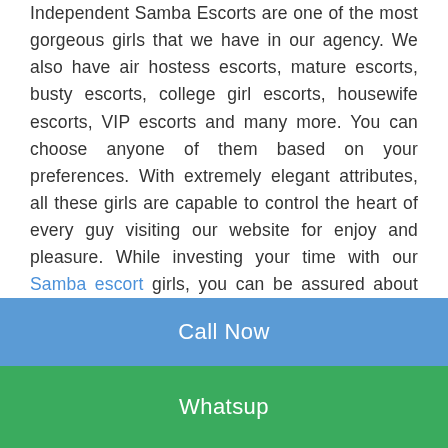Independent Samba Escorts are one of the most gorgeous girls that we have in our agency. We also have air hostess escorts, mature escorts, busty escorts, college girl escorts, housewife escorts, VIP escorts and many more. You can choose anyone of them based on your preferences. With extremely elegant attributes, all these girls are capable to control the heart of every guy visiting our website for enjoy and pleasure. While investing your time with our Samba escort girls, you can be assured about the world-class services. Surprisingly, numerous Samba ladies have actually been efficiently able to live up to the expectations of customers. Samba is absolutely the most attracting area around the world and people of this city are very
Call Now
Whatsup